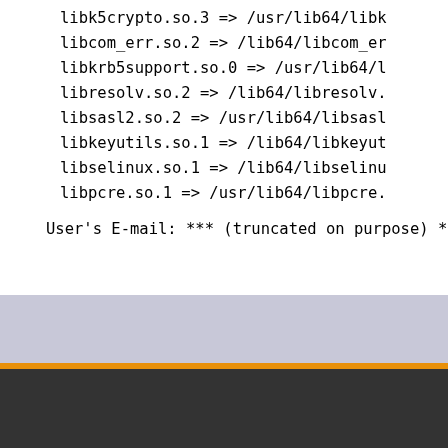libk5crypto.so.3 => /usr/lib64/libk5crypto.so.3
        libcom_err.so.2 => /lib64/libcom_err.so.2
        libkrb5support.so.0 => /usr/lib64/libkrb5support.so.0
        libresolv.so.2 => /lib64/libresolv.so.2
        libsasl2.so.2 => /usr/lib64/libsasl2.so.2
        libkeyutils.so.1 => /lib64/libkeyutils.so.1
        libselinux.so.1 => /lib64/libselinux.so.1
        libpcre.so.1 => /usr/lib64/libpcre.so.1
User's E-mail: *** (truncated on purpose) *
Copyright © 2001-2022 The PHP Group
Other PHP.net sites   Privacy policy